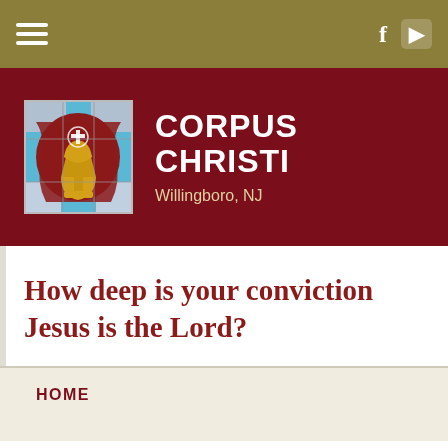≡  f ▶
[Figure (logo): Corpus Christi church logo - stained glass style image of a golden chalice with a cross, on blue and red background]
CORPUS CHRISTI Willingboro, NJ
How deep is your conviction Jesus is the Lord?
HOME